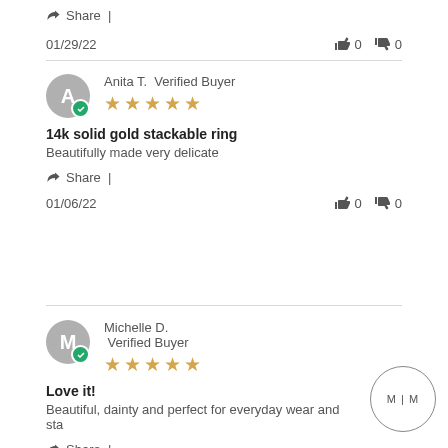Share |
01/29/22  👍 0  👎 0
Anita T. Verified Buyer ★★★★★
14k solid gold stackable ring
Beautifully made very delicate
Share |
01/06/22  👍 0  👎 0
Michelle D. Verified Buyer ★★★★★
Love it!
Beautiful, dainty and perfect for everyday wear and sta
Share |